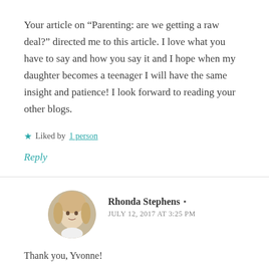Your article on “Parenting: are we getting a raw deal?” directed me to this article. I love what you have to say and how you say it and I hope when my daughter becomes a teenager I will have the same insight and patience! I look forward to reading your other blogs.
★ Liked by 1 person
Reply
Rhonda Stephens
JULY 12, 2017 AT 3:25 PM
Thank you, Yvonne!
★ Like